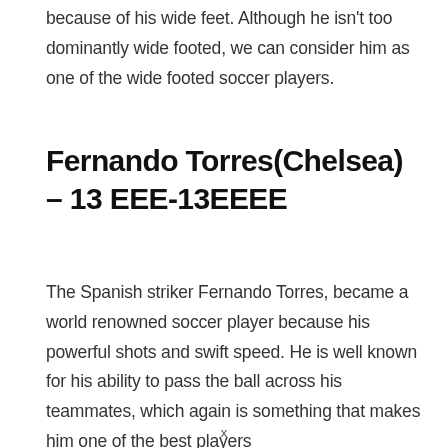because of his wide feet. Although he isn't too dominantly wide footed, we can consider him as one of the wide footed soccer players.
Fernando Torres(Chelsea) – 13 EEE-13EEEE
The Spanish striker Fernando Torres, became a world renowned soccer player because his powerful shots and swift speed. He is well known for his ability to pass the ball across his teammates, which again is something that makes him one of the best players
x